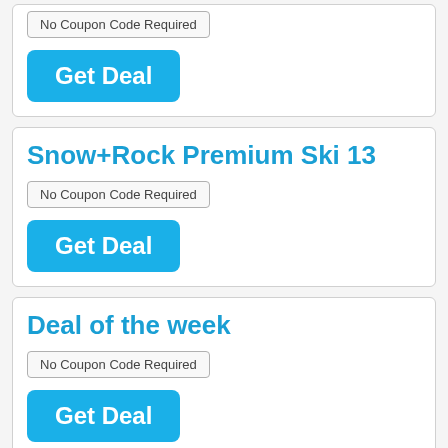No Coupon Code Required
[Figure (other): Blue 'Get Deal' button]
Snow+Rock Premium Ski 13
No Coupon Code Required
[Figure (other): Blue 'Get Deal' button]
Deal of the week
No Coupon Code Required
[Figure (other): Blue 'Get Deal' button (partially visible)]